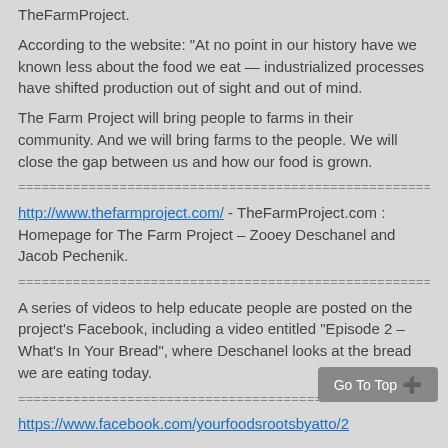TheFarmProject.
According to the website: “At no point in our history have we known less about the food we eat — industrialized processes have shifted production out of sight and out of mind.
The Farm Project will bring people to farms in their community. And we will bring farms to the people. We will close the gap between us and how our food is grown.
==========================================================
http://www.thefarmproject.com/  - TheFarmProject.com : Homepage for The Farm Project – Zooey Deschanel and Jacob Pechenik.
==========================================================
A series of videos to help educate people are posted on the project's Facebook, including a video entitled “Episode 2 – What’s In Your Bread”, where Deschanel looks at the bread we are eating today.
==========================================================
https://www.facebook.com/yourfoodsrootsbyatto/2